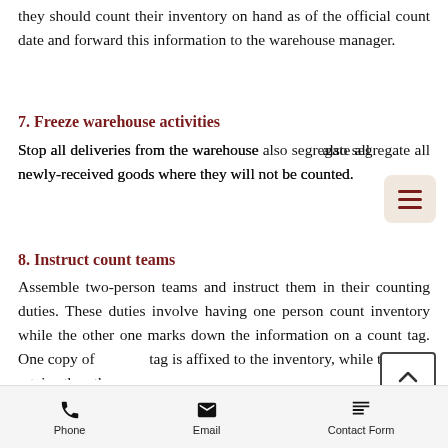they should count their inventory on hand as of the official count date and forward this information to the warehouse manager.
7. Freeze warehouse activities
Stop all deliveries from the warehouse also segregate all newly-received goods where they will not be counted.
8. Instruct count teams
Assemble two-person teams and instruct them in their counting duties. These duties involve having one person count inventory while the other one marks down the information on a count tag. One copy of the tag is affixed to the inventory, while the team retains the other copy.
Phone   Email   Contact Form